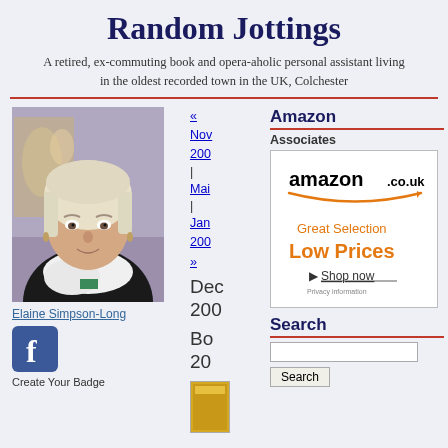Random Jottings
A retired, ex-commuting book and opera-aholic personal assistant living in the oldest recorded town in the UK, Colchester
[Figure (photo): Portrait photo of Elaine Simpson-Long, a woman with short blonde hair wearing a white scarf and black jacket]
Elaine Simpson-Long
[Figure (logo): Facebook logo icon (blue square with white f)]
Create Your Badge
« Nov 200 | Mai | Jan 200 »
Dec 200
Bo 20
Amazon
Associates
[Figure (logo): Amazon.co.uk advertisement box showing amazon.co.uk logo with smile, tagline 'Great Selection Low Prices', Shop now link and Privacy information text]
Search
Search